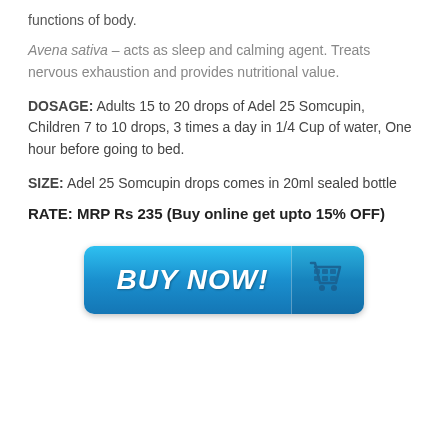functions of body.
Avena sativa – acts as sleep and calming agent. Treats nervous exhaustion and provides nutritional value.
DOSAGE: Adults 15 to 20 drops of Adel 25 Somcupin, Children 7 to 10 drops, 3 times a day in 1/4 Cup of water, One hour before going to bed.
SIZE: Adel 25 Somcupin drops comes in 20ml sealed bottle
RATE: MRP Rs 235 (Buy online get upto 15% OFF)
[Figure (illustration): Blue 'BUY NOW!' button with shopping cart icon]